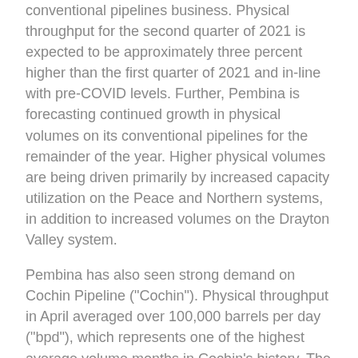conventional pipelines business. Physical throughput for the second quarter of 2021 is expected to be approximately three percent higher than the first quarter of 2021 and in-line with pre-COVID levels. Further, Pembina is forecasting continued growth in physical volumes on its conventional pipelines for the remainder of the year. Higher physical volumes are being driven primarily by increased capacity utilization on the Peace and Northern systems, in addition to increased volumes on the Drayton Valley system.
Pembina has also seen strong demand on Cochin Pipeline ("Cochin"). Physical throughput in April averaged over 100,000 barrels per day ("bpd"), which represents one of the highest average volume months in Cochin's history. The increased volume is a result of the recent debottleneck completed since Pembina acquired Cochin in late-2019, which proved up an incremental approximately 15,000 bpd of capacity with no associated capital cost. Pembina expects to see continued strong year-over-year